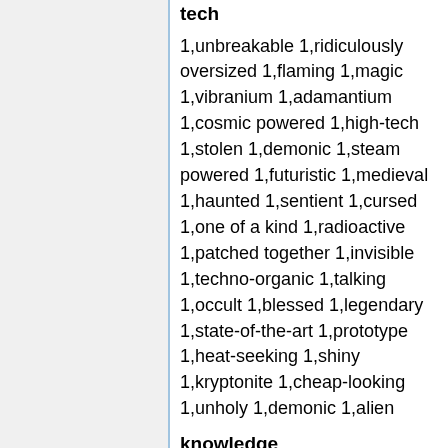tech
1,unbreakable 1,ridiculously oversized 1,flaming 1,magic 1,vibranium 1,adamantium 1,cosmic powered 1,high-tech 1,stolen 1,demonic 1,steam powered 1,futuristic 1,medieval 1,haunted 1,sentient 1,cursed 1,one of a kind 1,radioactive 1,patched together 1,invisible 1,techno-organic 1,talking 1,occult 1,blessed 1,legendary 1,state-of-the-art 1,prototype 1,heat-seeking 1,shiny 1,kryptonite 1,cheap-looking 1,unholy 1,demonic 1,alien
knowledge
1,robotics 1,cybernetics 1,xenobiology 1,cryptozoology 1,nano-technology 1,weapon design 1,astropyhsics 1,occultism 1,telepathy enhancing technology 1,mutant genetics 1,time